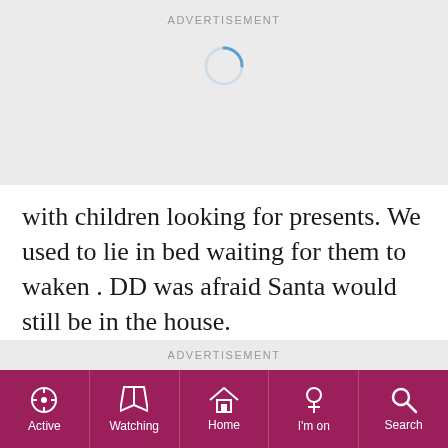ADVERTISEMENT
[Figure (other): Loading spinner — partial circle arc in blue/steel color indicating content loading]
with children looking for presents. We used to lie in bed waiting for them to waken . DD was afraid Santa would still be in the house.
ADVERTISEMENT
Active | Watching | Home | I'm on | Search